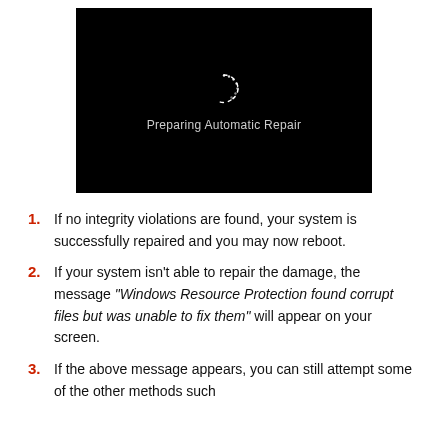[Figure (screenshot): Black screen showing Windows loading spinner and text 'Preparing Automatic Repair']
If no integrity violations are found, your system is successfully repaired and you may now reboot.
If your system isn't able to repair the damage, the message “Windows Resource Protection found corrupt files but was unable to fix them” will appear on your screen.
If the above message appears, you can still attempt some of the other methods such